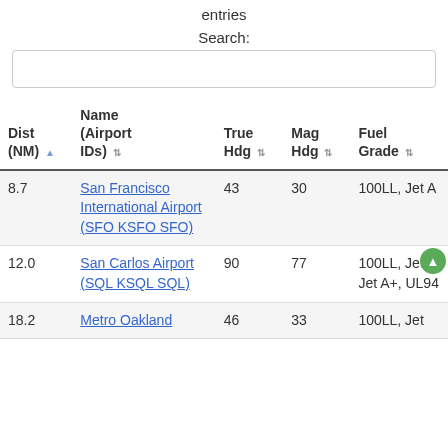entries
Search:
| Dist (NM) | Name (Airport IDs) | True Hdg | Mag Hdg | Fuel Grade |
| --- | --- | --- | --- | --- |
| 8.7 | San Francisco International Airport (SFO KSFO SFO) | 43 | 30 | 100LL, Jet A |
| 12.0 | San Carlos Airport (SQL KSQL SQL) | 90 | 77 | 100LL, Jet A, Jet A+, UL94 |
| 18.2 | Metro Oakland | 46 | 33 | 100LL, Jet |